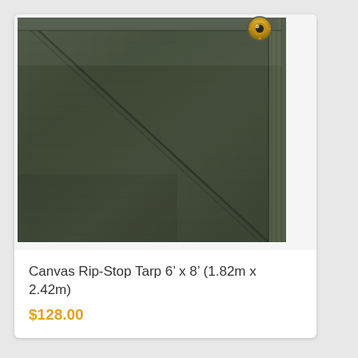[Figure (photo): Close-up photo of a dark olive green canvas rip-stop tarp showing fabric texture, diagonal corner reinforcement stitching, a vertical hemmed edge on the right side, and a brass/gold metal grommet in the upper right corner, photographed against a white background.]
Canvas Rip-Stop Tarp 6’ x 8’ (1.82m x 2.42m)
$128.00